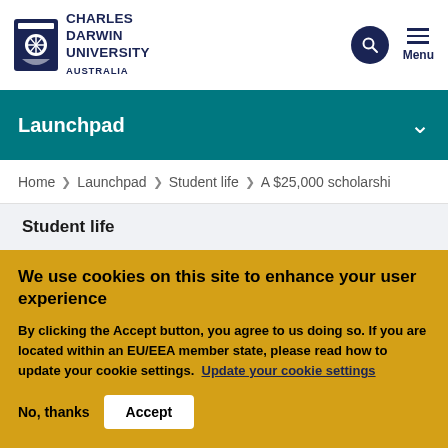[Figure (logo): Charles Darwin University Australia logo with shield emblem and text]
Menu
Launchpad
Home > Launchpad > Student life > A $25,000 scholarshi...
Student life
We use cookies on this site to enhance your user experience
By clicking the Accept button, you agree to us doing so. If you are located within an EU/EEA member state, please read how to update your cookie settings. Update your cookie settings
No, thanks   Accept